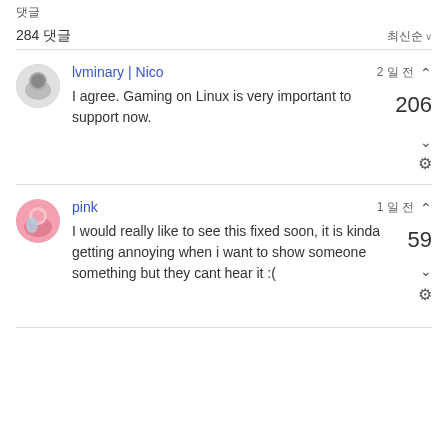댓글
284 댓글
최신순 ∨
lvminary | Nico   2 일 전   206
I agree. Gaming on Linux is very important to support now.
pink   1 일 전   59
I would really like to see this fixed soon, it is kinda getting annoying when i want to show someone something but they cant hear it :(